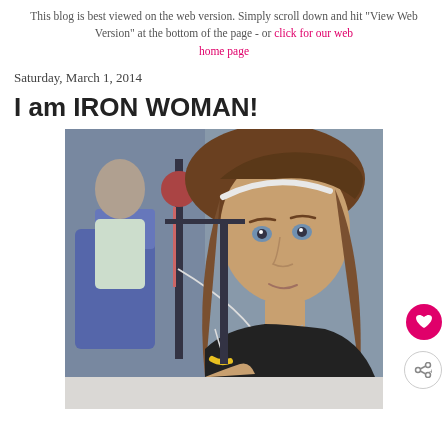This blog is best viewed on the web version. Simply scroll down and hit "View Web Version" at the bottom of the page - or click for our web home page
Saturday, March 1, 2014
I am IRON WOMAN!
[Figure (photo): Young woman with long brown hair and a white headband, appearing to be in a medical infusion center, wearing a black top, with an IV line visible. Medical chairs and equipment visible in background.]
[Figure (photo): Partial bottom of the infusion center photo, showing white/grey background]